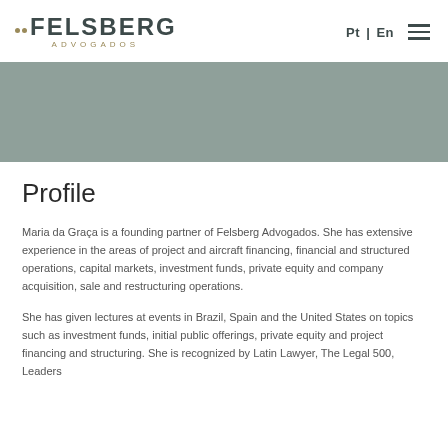..FELSBERG ADVOGADOS | Pt | En
[Figure (other): Gray banner/hero image area]
Profile
Maria da Graça is a founding partner of Felsberg Advogados. She has extensive experience in the areas of project and aircraft financing, financial and structured operations, capital markets, investment funds, private equity and company acquisition, sale and restructuring operations.
She has given lectures at events in Brazil, Spain and the United States on topics such as investment funds, initial public offerings, private equity and project financing and structuring. She is recognized by Latin Lawyer, The Legal 500, Leaders